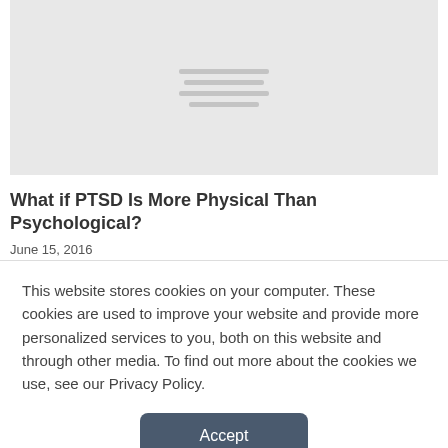[Figure (illustration): Gray placeholder image with horizontal lines suggesting text/content loading state]
What if PTSD Is More Physical Than Psychological?
June 15, 2016
This website stores cookies on your computer. These cookies are used to improve your website and provide more personalized services to you, both on this website and through other media. To find out more about the cookies we use, see our Privacy Policy.